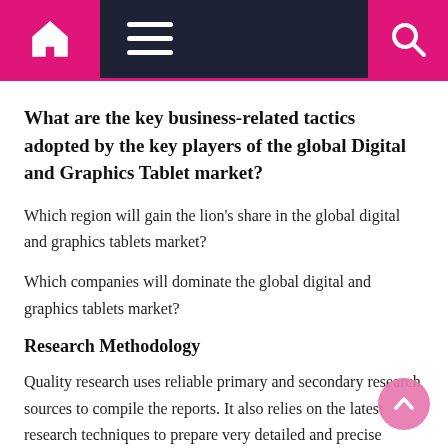Navigation bar with home, menu, and search icons
What are the key business-related tactics adopted by the key players of the global Digital and Graphics Tablet market?
Which region will gain the lion’s share in the global digital and graphics tablets market?
Which companies will dominate the global digital and graphics tablets market?
Research Methodology
Quality research uses reliable primary and secondary research sources to compile the reports. It also relies on the latest research techniques to prepare very detailed and precise research studies like this one. Use data triangulation, top-down and bottom-up